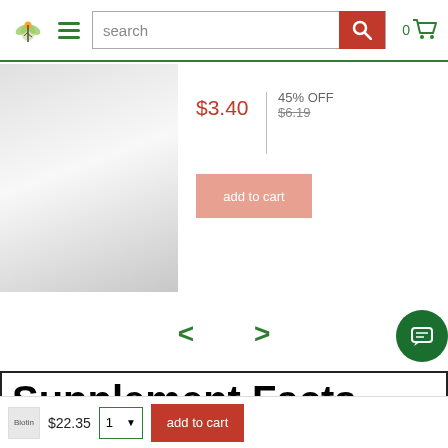[Figure (screenshot): Website header navigation bar with green leaf logo, hamburger menu, search box, orange search button with magnifying glass icon, and cart icon showing 0 items]
[Figure (screenshot): Product listing showing a grey gradient product image placeholder on the left, sale price $3.40, 45% OFF discount badge, original price $6.19 struck through, and a salmon-colored add to cart button]
< >
[Figure (screenshot): Supplement Facts panel showing 'Supplement Facts' title, serving size 1 capsule, servings per container 120]
serving size 1 capsule
servings per container 120
Biotin  $22.35  1 v  add to cart